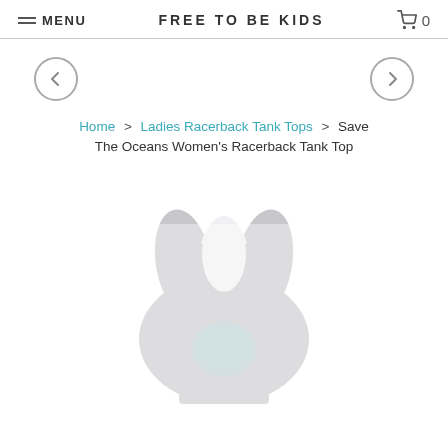MENU   FREE TO BE KIDS   🛒 0
[Figure (illustration): Left navigation arrow in a circle and right navigation arrow in a circle]
Home > Ladies Racerback Tank Tops > Save The Oceans Women's Racerback Tank Top
Save The Oceans Women's Racerback Tank Top
[Figure (photo): Blurred image of a light grey women's racerback tank top with a faint ocean/turtle graphic on the front]